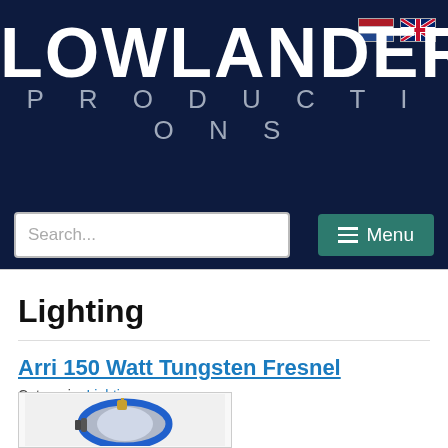[Figure (logo): Lowlander Productions logo on dark navy background with white bold LOWLANDER text and grey spaced PRODUCTIONS text, with Dutch and UK flags top right]
[Figure (screenshot): Navigation bar with search input field and teal Menu button with hamburger icon]
Lighting
Arri 150 Watt Tungsten Fresnel
Categorie: Lighting
[Figure (photo): Product photo of Arri 150 Watt Tungsten Fresnel light, blue and silver circular lamp unit]